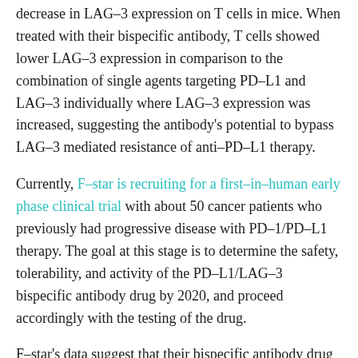decrease in LAG-3 expression on T cells in mice. When treated with their bispecific antibody, T cells showed lower LAG-3 expression in comparison to the combination of single agents targeting PD-L1 and LAG-3 individually where LAG-3 expression was increased, suggesting the antibody's potential to bypass LAG-3 mediated resistance of anti-PD-L1 therapy.
Currently, F-star is recruiting for a first-in-human early phase clinical trial with about 50 cancer patients who previously had progressive disease with PD-1/PD-L1 therapy. The goal at this stage is to determine the safety, tolerability, and activity of the PD-L1/LAG-3 bispecific antibody drug by 2020, and proceed accordingly with the testing of the drug.
F-star's data suggest that their bispecific antibody drug is capable of evading the checkpoint-mediated